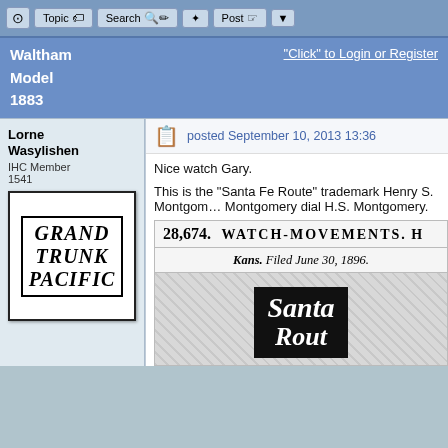[Figure (screenshot): Forum toolbar with Topic, Search, Post buttons]
Waltham Model 1883 | "Click" to Login or Register
Lorne Wasylishen
IHC Member 1541
[Figure (logo): Grand Trunk Pacific railway logo]
posted September 10, 2013 13:36
Nice watch Gary.
This is the "Santa Fe Route" trademark Henry S. Montgomery dial H.S. Montgomery.
[Figure (photo): Scanned trademark document showing: 28,674. WATCH-MOVEMENTS. Kans. Filed June 30, 1896. Santa Fe Route logo in black with white script text.]